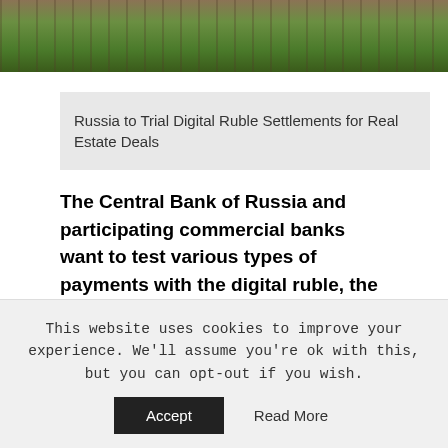[Figure (photo): Aerial or street-level photo of a Russian city with buildings, parking lot, and green areas]
[Figure (other): Image placeholder for 'Russia to Trial Digital Ruble Settlements for Real Estate Deals']
The Central Bank of Russia and participating commercial banks want to test various types of payments with the digital ruble, the Russian press reported. The plan is to experiment with smart contracts and transactions related to real estate and crypto
This website uses cookies to improve your experience. We'll assume you're ok with this, but you can opt-out if you wish.